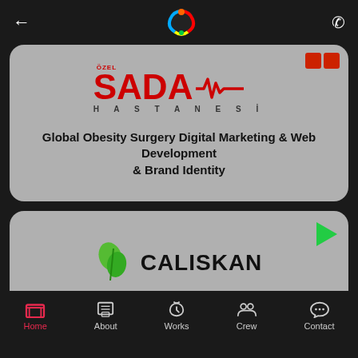← [logo] )
[Figure (logo): ÖZEL SADA HASTANESI logo with red text and heartbeat line graphic]
Global Obesity Surgery Digital Marketing & Web Development & Brand Identity
[Figure (logo): CALISKAN logo with green leaf icon]
Global Search Engine Optimization & Web Development & GSuite Support
Home | About | Works | Crew | Contact